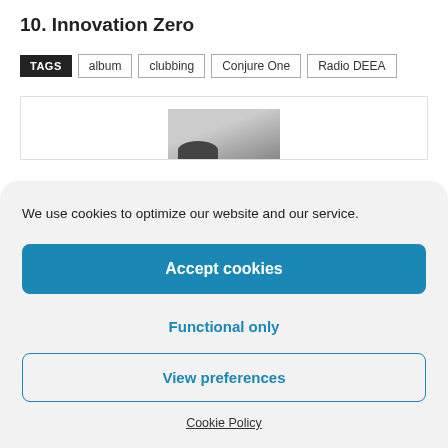10. Innovation Zero
TAGS  album  clubbing  Conjure One  Radio DEEA
[Figure (photo): Partial thumbnail image, light grey sky with a dark curved shape at bottom]
We use cookies to optimize our website and our service.
Accept cookies
Functional only
View preferences
Cookie Policy